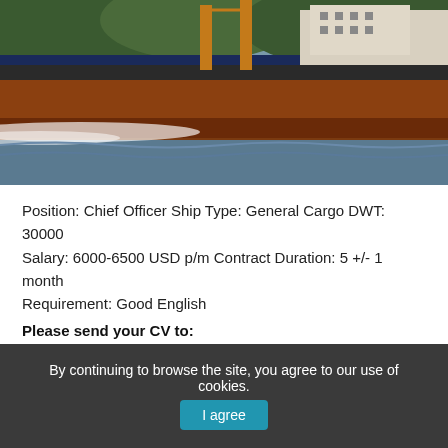[Figure (photo): Photo of a large cargo ship with rust-red hull sailing through water, with green hills in background]
Position: Chief Officer Ship Type: General Cargo DWT: 30000 Salary: 6000-6500 USD p/m Contract Duration: 5 +/- 1 month Requirement: Good English
Please send your CV to:
Location: Worldwide
CrewTraffic Publisher
By continuing to browse the site, you agree to our use of cookies.